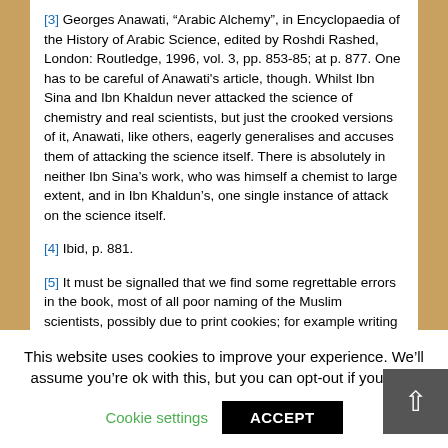[3] Georges Anawati, “Arabic Alchemy”, in Encyclopaedia of the History of Arabic Science, edited by Roshdi Rashed, London: Routledge, 1996, vol. 3, pp. 853-85; at p. 877. One has to be careful of Anawati's article, though. Whilst Ibn Sina and Ibn Khaldun never attacked the science of chemistry and real scientists, but just the crooked versions of it, Anawati, like others, eagerly generalises and accuses them of attacking the science itself. There is absolutely in neither Ibn Sina's work, who was himself a chemist to large extent, and in Ibn Khaldun’s, one single instance of attack on the science itself.
[4] Ibid, p. 881.
[5] It must be signalled that we find some regrettable errors in the book, most of all poor naming of the Muslim scientists, possibly due to print cookies; for example writing al-Birani (for al-Biruni, p. 120), Ibn Batoutah (for Ibn Batouah, p. 125).
This website uses cookies to improve your experience. We’ll assume you’re ok with this, but you can opt-out if you wish
Cookie settings   ACCEPT